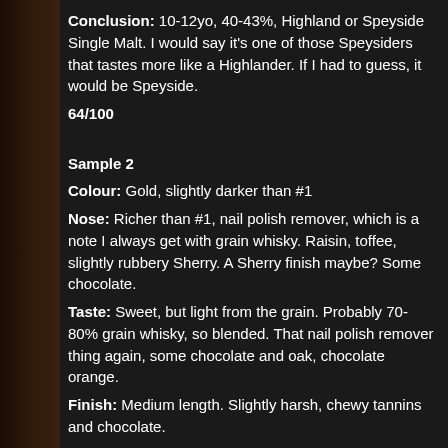Conclusion: 10-12yo, 40-43%, Highland or Speyside Single Malt. I would say it's one of those Speysiders that tastes more like a Highlander. If I had to guess, it would be Speyside.
64/100
Sample 2
Colour: Gold, slightly darker than #1
Nose: Richer than #1, nail polish remover, which is a note I always get with grain whisky. Raisin, toffee, slightly rubbery Sherry. A Sherry finish maybe? Some chocolate.
Taste: Sweet, but light from the grain. Probably 70-80% grain whisky, so blended. That nail polish remover thing again, some chocolate and oak, chocolate orange.
Finish: Medium length. Slightly harsh, chewy tannins and chocolate.
Conclusion: Blended whisky, 40-43%, Sherry finish. Age is tricky, not too old or young. I know Lidl have a 22 and 25 Sherry fini... have bought them but it doesn't seem that old. More like 15yo, whic... Maybe a 12yo supermarket blend then?
64/100